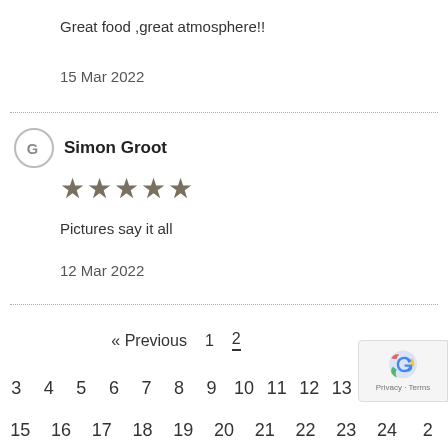Great food ,great atmosphere!!
15 Mar 2022
Simon Groot
★★★★★
Pictures say it all
12 Mar 2022
« Previous  1  2
3  4  5  6  7  8  9  10  11  12  13
15  16  17  18  19  20  21  22  23  24  2